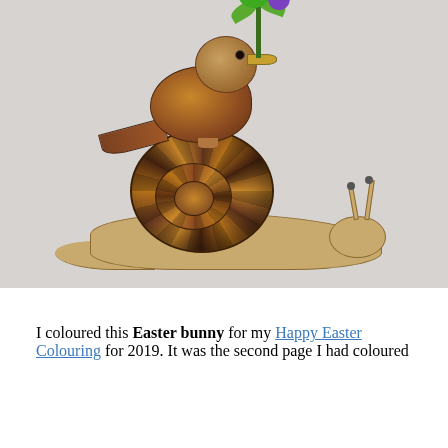[Figure (illustration): A coloured illustration showing a wren bird perched on top of a snail's shell, holding a sprig of flowers (green and purple) in its beak. The snail has a detailed brown spiral shell and a tan body with antennae. The background is light grey.]
I coloured this Easter bunny for my Happy Easter Colouring for 2019. It was the second page I had coloured